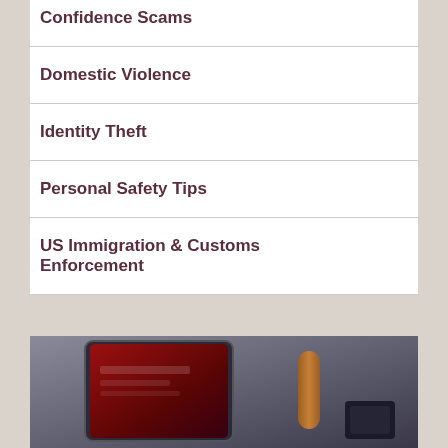Confidence Scams
Domestic Violence
Identity Theft
Personal Safety Tips
US Immigration & Customs Enforcement
[Figure (photo): A tablet device showing a website with a dark red/maroon interface, placed on a desk next to a wooden cylindrical object and dark accessories, photographed from above at an angle.]